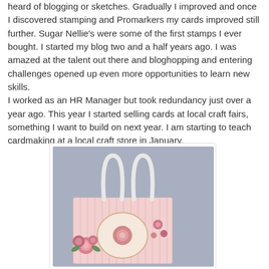heard of blogging or sketches. Gradually I improved and once I discovered stamping and Promarkers my cards improved still further. Sugar Nellie's were some of the first stamps I ever bought. I started my blog two and a half years ago. I was amazed at the talent out there and bloghopping and entering challenges opened up even more opportunities to learn new skills.
I worked as an HR Manager but took redundancy just over a year ago. This year I started selling cards at local craft fairs, something I want to build on next year. I am starting to teach cardmaking at a local craft store in January.
[Figure (photo): A decorative handmade gift bag with white rope handles, pink floral patterned paper, and rose embellishments on a grey-blue background.]